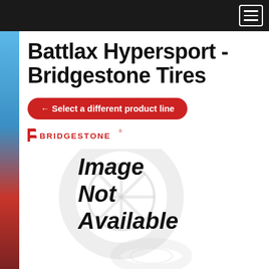Navigation bar with hamburger menu
Battlax Hypersport - Bridgestone Tires
← Select a different product line
[Figure (logo): Bridgestone brand logo in red]
[Figure (photo): Image Not Available placeholder with ghost tire graphic in background]